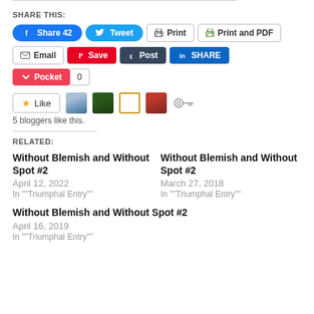SHARE THIS:
[Figure (screenshot): Social sharing buttons row 1: Facebook Share 42, Tweet, Print, Print and PDF]
[Figure (screenshot): Social sharing buttons row 2: Email, Save (Pinterest), Post (Tumblr), SHARE (LinkedIn)]
[Figure (screenshot): Pocket button with count 0]
[Figure (screenshot): Like button with 4 blogger avatars and key icon]
5 bloggers like this.
RELATED:
Without Blemish and Without Spot #2
April 12, 2022
In ""Triumphal Entry""
Without Blemish and Without Spot #2
March 27, 2018
In ""Triumphal Entry""
Without Blemish and Without Spot #2
April 16, 2019
In ""Triumphal Entry""